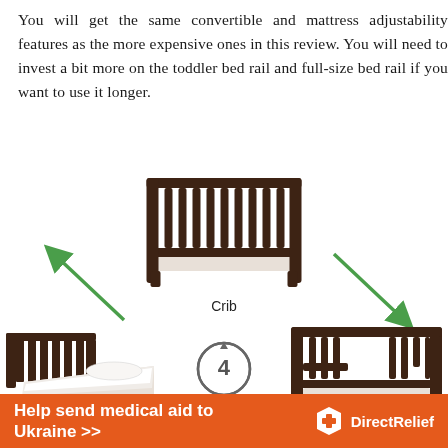You will get the same convertible and mattress adjustability features as the more expensive ones in this review. You will need to invest a bit more on the toddler bed rail and full-size bed rail if you want to use it longer.
[Figure (infographic): Infographic showing a 4-in-1 convertible crib. A dark wood crib is shown in the center with the label 'Crib'. Two green diagonal arrows point outward from the crib — one to the lower left toward a full/toddler bed with white bedding, and one to the lower right toward a dark wood toddler bed frame. In the center bottom is a circular recycling-style icon with the number 4 inside, labeled '4-in-1 Convertible Crib'.]
Help send medical aid to Ukraine >>
[Figure (logo): Direct Relief logo — white shield icon with red cross, text 'Direct Relief' in white on orange background]